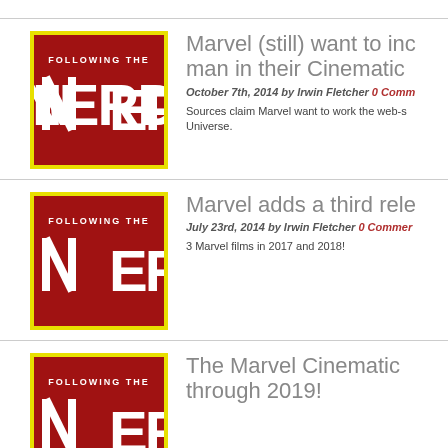[Figure (logo): Following the Nerd logo — red background with yellow border, white text 'FOLLOWING THE NERD']
Marvel (still) want to inc man in their Cinematic
October 7th, 2014 by Irwin Fletcher 0 Comm
Sources claim Marvel want to work the web-s Universe.
[Figure (logo): Following the Nerd logo — red background with yellow border, white text 'FOLLOWING THE NERD']
Marvel adds a third rele
July 23rd, 2014 by Irwin Fletcher 0 Commen
3 Marvel films in 2017 and 2018!
[Figure (logo): Following the Nerd logo — red background with yellow border, white text 'FOLLOWING THE NERD']
The Marvel Cinematic through 2019!